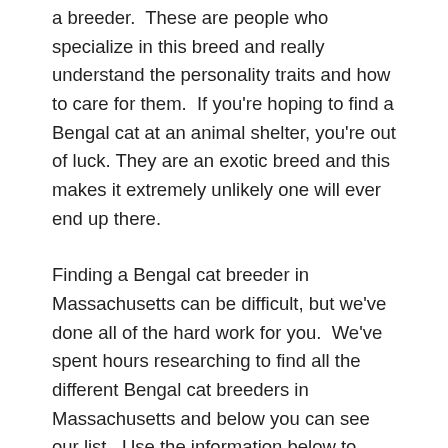a breeder.  These are people who specialize in this breed and really understand the personality traits and how to care for them.  If you're hoping to find a Bengal cat at an animal shelter, you're out of luck. They are an exotic breed and this makes it extremely unlikely one will ever end up there.
Finding a Bengal cat breeder in Massachusetts can be difficult, but we've done all of the hard work for you.  We've spent hours researching to find all the different Bengal cat breeders in Massachusetts and below you can see our list.  Use the information below to research and feel free to contact the breeders if you have questions.